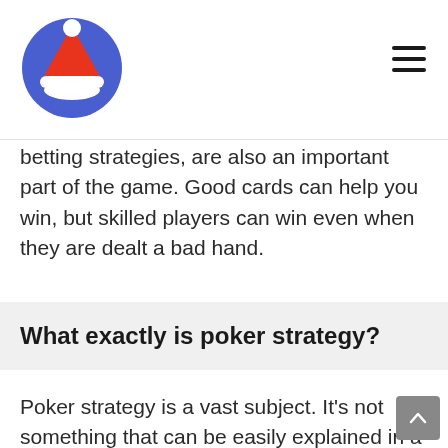Logo and navigation header
betting strategies, are also an important part of the game. Good cards can help you win, but skilled players can win even when they are dealt a bad hand.
What exactly is poker strategy?
Poker strategy is a vast subject. It's not something that can be easily explained in a sentence or two, but it's all about learning how to play the game to its full potential. Poker is a decision-based game, and poker strategy teaches you how to make the right decisions at the